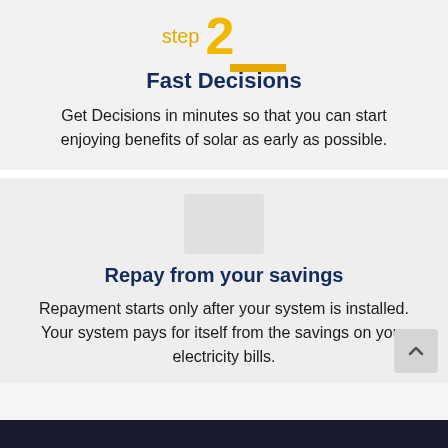step 2
Fast Decisions
Get Decisions in minutes so that you can start enjoying benefits of solar as early as possible.
Repay from your savings
Repayment starts only after your system is installed. Your system pays for itself from the savings on your electricity bills.